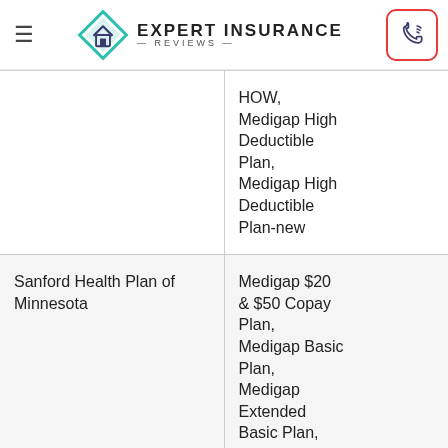Expert Insurance Reviews
| Provider | Plans Offered |
| --- | --- |
|  | HOW, Medigap High Deductible Plan, Medigap High Deductible Plan-new |
| Sanford Health Plan of Minnesota | Medigap $20 & $50 Copay Plan, Medigap Basic Plan, Medigap Extended Basic Plan, Medigap Extended Basic Plan... |